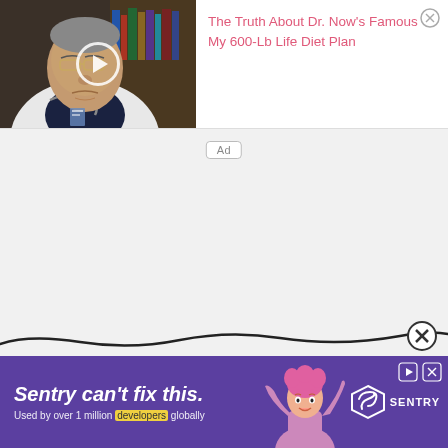[Figure (screenshot): Advertisement card with thumbnail video image of an elderly doctor/physician in a white coat with glasses, a play button overlay on the video thumbnail, and pink text reading 'The Truth About Dr. Now's Famous My 600-Lb Life Diet Plan' with a close/X button in top-right corner]
Ad
[Figure (illustration): Wavy black curved line across the bottom portion of the page with a circular X/close button on the right side, and a bottom banner advertisement for Sentry with purple background showing 'Sentry can't fix this.' headline, 'Used by over 1 million developers globally' subtext, a cartoon illustration of a person, and Sentry logo]